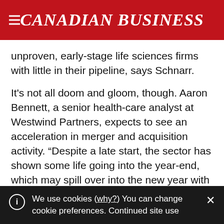CANADIAN BUSINESS
unproven, early-stage life sciences firms with little in their pipeline, says Schnarr.
It's not all doom and gloom, though. Aaron Bennett, a senior health-care analyst at Westwind Partners, expects to see an acceleration in merger and acquisition activity. “Despite a late start, the sector has shown some life going into the year-end, which may spill over into the new year with several potential catalysts for high-profile and lesser-known companies,” writes Bennett in a recent research report.
We use cookies (why?) You can change cookie preferences. Continued site use